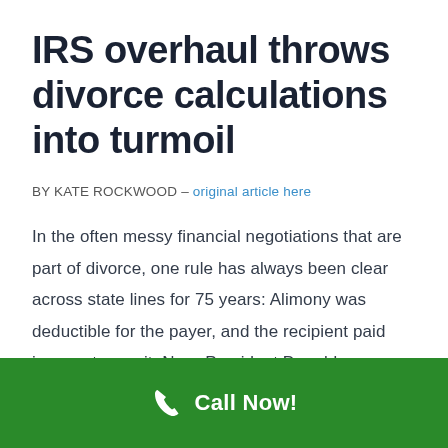IRS overhaul throws divorce calculations into turmoil
BY KATE ROCKWOOD – original article here
In the often messy financial negotiations that are part of divorce, one rule has always been clear across state lines for 75 years: Alimony was deductible for the payer, and the recipient paid income tax on it. Now, President Donald
Call Now!